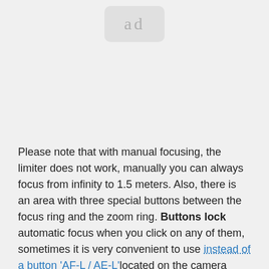[Figure (other): Ad placeholder box with 'ad' text in rounded rectangle]
Please note that with manual focusing, the limiter does not work, manually you can always focus from infinity to 1.5 meters. Also, there is an area with three special buttons between the focus ring and the zoom ring. Buttons lock automatic focus when you click on any of them, sometimes it is very convenient to use instead of a button 'AF-L / AE-L' located on the camera body.
Auto focus is fast at any limiter position. At 80mm focal length, the lens focuses a little faster than at 200mm focal length. Auto focus is quite quiet. It is very nice that